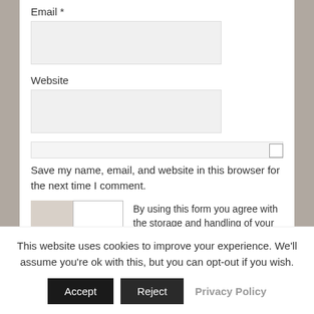Email *
[Figure (screenshot): Empty text input field for Email]
Website
[Figure (screenshot): Empty text input field for Website]
[Figure (screenshot): Checkbox bar with checkbox at right end]
Save my name, email, and website in this browser for the next time I comment.
[Figure (screenshot): GDPR consent area with image placeholder, checkbox, and text: By using this form you agree with the storage and handling of your data by this website. *]
This website uses cookies to improve your experience. We'll assume you're ok with this, but you can opt-out if you wish.
Accept
Reject
Privacy Policy